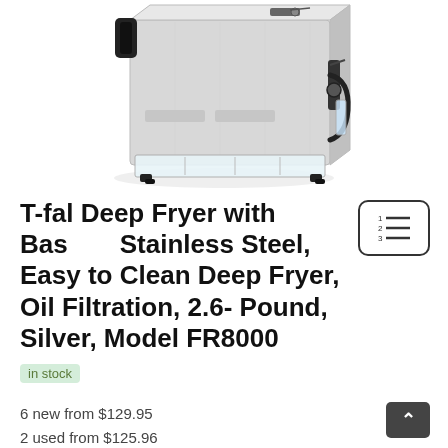[Figure (photo): T-fal deep fryer product photo showing a stainless steel deep fryer with black handles and a transparent oil filtration container at the base, viewed from a slightly angled perspective.]
T-fal Deep Fryer with Basket, Stainless Steel, Easy to Clean Deep Fryer, Oil Filtration, 2.6-Pound, Silver, Model FR8000
in stock
6 new from $129.95
2 used from $125.96
Free shipping